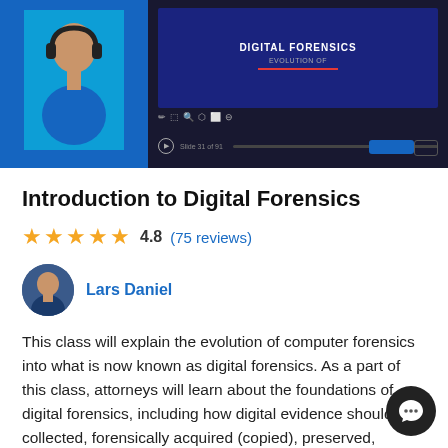[Figure (screenshot): Screenshot of a digital forensics online course video player interface with dark background, showing a presentation slide titled 'DIGITAL FORENSICS' and playback controls at the bottom.]
Introduction to Digital Forensics
★★★★★ 4.8 (75 reviews)
Lars Daniel
This class will explain the evolution of computer forensics into what is now known as digital forensics. As a part of this class, attorneys will learn about the foundations of digital forensics, including how digital evidence should be collected, forensically acquired (copied), preserved, examined, and analyzed. The class then uses numerous...
View credit (30 jurisdictions)
Learn more